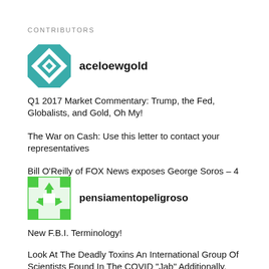CONTRIBUTORS
[Figure (logo): Teal geometric/diamond pattern avatar for aceloewgold contributor]
aceloewgold
Q1 2017 Market Commentary: Trump, the Fed, Globalists, and Gold, Oh My!
The War on Cash: Use this letter to contact your representatives
Bill O’Reilly of FOX News exposes George Soros – 4 minutes
[Figure (logo): Green recycling/arrows pattern avatar for pensiamentopeligroso contributor]
pensiamentopeligroso
New F.B.I. Terminology!
Look At The Deadly Toxins An International Group Of Scientists Found In The COVID “Jab” Additionally, Women Had 87.5% Miscarriage Rate!
Trump To Be Indicted – Dems To Cheat & Stay In Power For